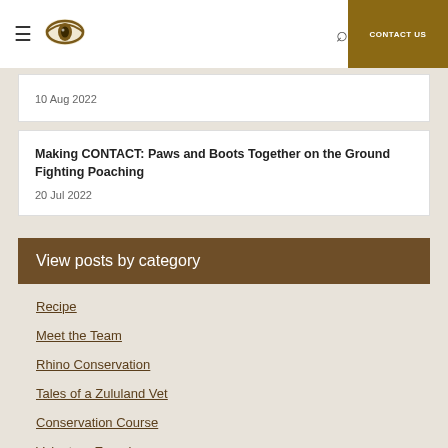CONTACT US
10 Aug 2022
Making CONTACT: Paws and Boots Together on the Ground Fighting Poaching
20 Jul 2022
View posts by category
Recipe
Meet the Team
Rhino Conservation
Tales of a Zululand Vet
Conservation Course
Volunteer Experiences
Camera Traps